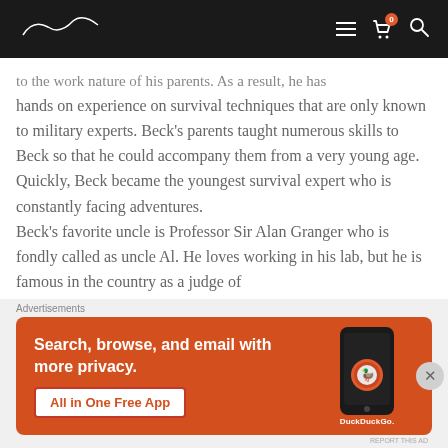And [logo] — navigation bar with hamburger, cart, and search icons
to the work nature of his parents. As a result, he has hands on experience on survival techniques that are only known to military experts. Beck's parents taught numerous skills to Beck so that he could accompany them from a very young age. Quickly, Beck became the youngest survival expert who is constantly facing adventures.
Beck's favorite uncle is Professor Sir Alan Granger who is fondly called as uncle Al. He loves working in his lab, but he is famous in the country as a judge of elite television shows. After the loss of his parent…
Advertisements
[Figure (screenshot): DuckDuckGo advertisement banner: orange background with text 'Search, browse, and email with more privacy.' and 'All in One Free App' button, plus phone image with DuckDuckGo logo]